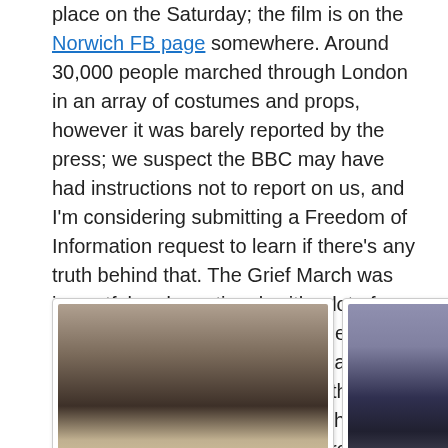place on the Saturday; the film is on the Norwich FB page somewhere. Around 30,000 people marched through London in an array of costumes and props, however it was barely reported by the press; we suspect the BBC may have had instructions not to report on us, and I'm considering submitting a Freedom of Information request to learn if there's any truth behind that. The Grief March was impactful and emotional, with a lot of support from the pavements. The Red Brigade brought a whole tube station to silence as they made their way through the city, remaining in character the whole time; they also provoked tears from many, such is power or iconography and silence.
[Figure (photo): Crowd photo of march through London street, familiar faces visible]
Some familiar faces
[Figure (photo): Grief March down London street, crowd with banners and flags]
Grief March down